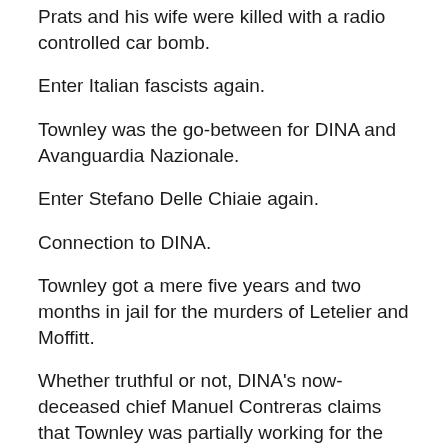Prats and his wife were killed with a radio controlled car bomb.
Enter Italian fascists again.
Townley was the go-between for DINA and Avanguardia Nazionale.
Enter Stefano Delle Chiaie again.
Connection to DINA.
Townley got a mere five years and two months in jail for the murders of Letelier and Moffitt.
Whether truthful or not, DINA's now-deceased chief Manuel Contreras claims that Townley was partially working for the CIA when he murdered Letelier and Moffitt.